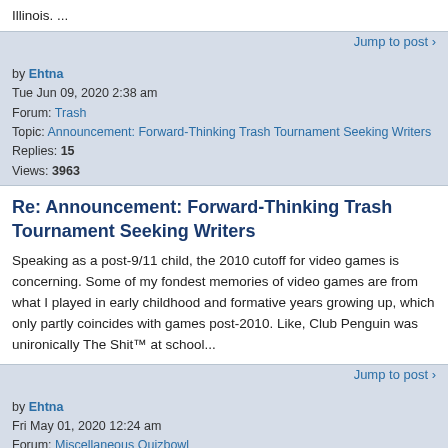Illinois. ...
Jump to post >
by Ehtna
Tue Jun 09, 2020 2:38 am
Forum: Trash
Topic: Announcement: Forward-Thinking Trash Tournament Seeking Writers
Replies: 15
Views: 3963
Re: Announcement: Forward-Thinking Trash Tournament Seeking Writers
Speaking as a post-9/11 child, the 2010 cutoff for video games is concerning. Some of my fondest memories of video games are from what I played in early childhood and formative years growing up, which only partly coincides with games post-2010. Like, Club Penguin was unironically The Shit™ at school...
Jump to post >
by Ehtna
Fri May 01, 2020 12:24 am
Forum: Miscellaneous Quizbowl
Topic: Where are you going to college next year? (2020)
Replies: 37
Views: 11090
Re: Where are you going to college next year? (2020)
I'm heading to University of Minnesota (Twin Cities), hoping to keep up with qb as much as possible!